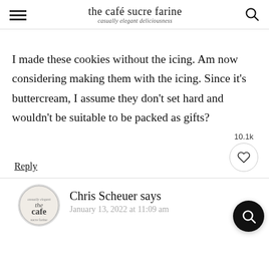the café sucre farine — casually elegant deliciousness
I made these cookies without the icing. Am now considering making them with the icing. Since it's buttercream, I assume they don't set hard and wouldn't be suitable to be packed as gifts?
Reply
Chris Scheuer says
January 13, 2022 at 11:09 am